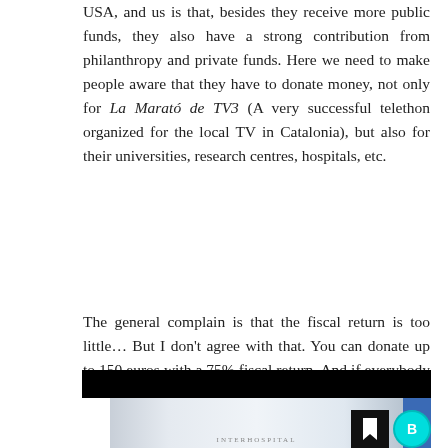USA, and us is that, besides they receive more public funds, they also have a strong contribution from philanthropy and private funds. Here we need to make people aware that they have to donate money, not only for La Marató de TV3 (A very successful telethon organized for the local TV in Catalonia), but also for their universities, research centres, hospitals, etc.
The general complain is that the fiscal return is too little... But I don't agree with that. You can donate up to 150 euros with a 75% fiscal return. And if everybody donated 150 euros it would be a lot!
[Figure (photo): Hospital corridor photograph with black bar at top, blue vertical panels on right side, and small bookmark and 'B' icons in the bottom right corner.]